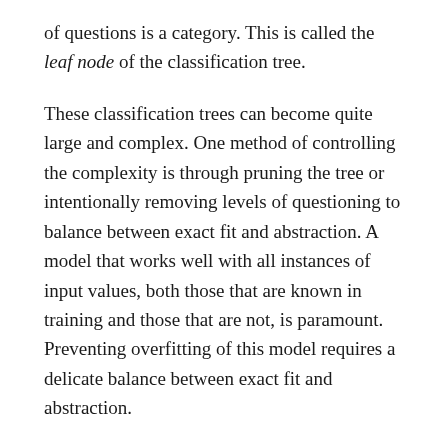of questions is a category. This is called the leaf node of the classification tree.
These classification trees can become quite large and complex. One method of controlling the complexity is through pruning the tree or intentionally removing levels of questioning to balance between exact fit and abstraction. A model that works well with all instances of input values, both those that are known in training and those that are not, is paramount. Preventing overfitting of this model requires a delicate balance between exact fit and abstraction.
A variant of classification and regression trees is called random forests. Instead of constructing a single tree with many branches of logic, a random forest is a culmination of many small and simple